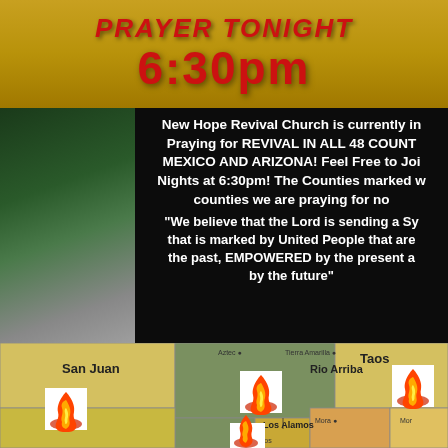[Figure (illustration): Top banner with golden/yellow background showing 'PRAYER TONIGHT' title in red and '6:30pm' in large red bold text]
[Figure (photo): Left side vertical photo strip showing a person in green/natural outdoor setting]
New Hope Revival Church is currently in Praying for REVIVAL IN ALL 48 COUNTIES OF NEW MEXICO AND ARIZONA! Feel Free to Join Us Tuesday Nights at 6:30pm! The Counties marked with fire are the counties we are praying for now!
"We believe that the Lord is sending a Synergie Revival that is marked by United People that are INSPIRED by the past, EMPOWERED by the present and HOPE FILLED by the future"
[Figure (map): Map of New Mexico counties showing San Juan, Rio Arriba, Taos, Los Alamos, and other counties with flame icons indicating prayer focus areas. Counties shown in yellow, green, and orange colors with city labels including Aztec, Tierra Amarilla, Mora, and Los Alamos.]